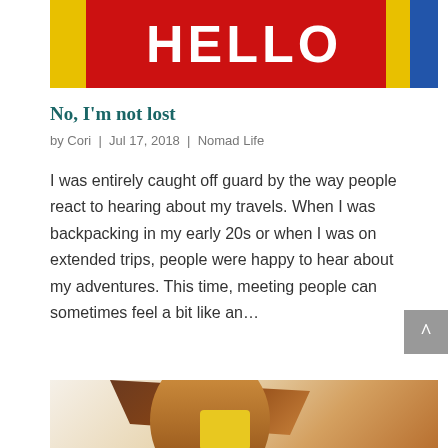[Figure (photo): Photo of a colorful storefront with a red door and yellow/blue panels, text 'HELLO' visible at top]
No, I'm not lost
by Cori | Jul 17, 2018 | Nomad Life
I was entirely caught off guard by the way people react to hearing about my travels. When I was backpacking in my early 20s or when I was on extended trips, people were happy to hear about my adventures. This time, meeting people can sometimes feel a bit like an…
[Figure (photo): Photo of a woman with long brown hair blowing in the wind, wearing a yellow backpack]